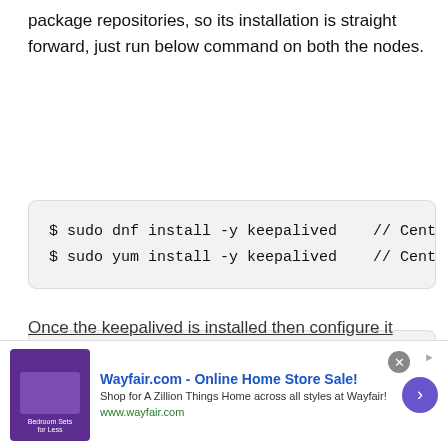package repositories, so its installation is straight forward, just run below command on both the nodes.
$ sudo dnf install -y keepalived    // CentOS 8/ RH
$ sudo yum install -y keepalived    // CentOS 7 / R
For Ubuntu / Debian System,
$ apt install -y keepalived
Once the keepalived is installed then configure it
[Figure (other): Wayfair.com advertisement banner with headline 'Wayfair.com - Online Home Store Sale!', subtext 'Shop for A Zillion Things Home across all styles at Wayfair!', URL www.wayfair.com, close button, and navigation arrow]